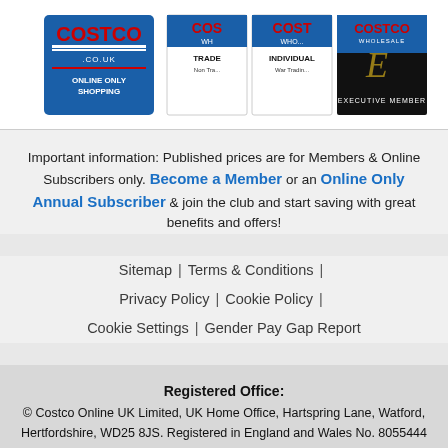[Figure (logo): Costco membership card logos: Costco.co.uk Online Only Shopping card, Costco Wholesale Trade and Individual membership cards, Costco Wholesale Executive Member card]
Important information: Published prices are for Members & Online Subscribers only. Become a Member or an Online Only Annual Subscriber & join the club and start saving with great benefits and offers!
Sitemap | Terms & Conditions | Privacy Policy | Cookie Policy | Cookie Settings | Gender Pay Gap Report
Registered Office:
© Costco Online UK Limited, UK Home Office, Hartspring Lane, Watford, Hertfordshire, WD25 8JS. Registered in England and Wales No. 8055444
VAT registration number - GB 650 1862 52